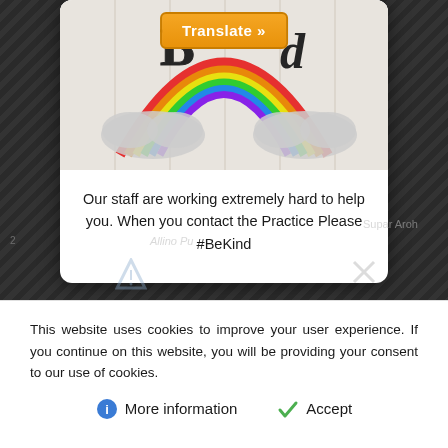[Figure (screenshot): Screenshot of a medical practice website showing a popup card with a rainbow and cloud image at the top, a 'Translate »' orange button, and text 'Our staff are working extremely hard to help you. When you contact the Practice Please #BeKind'. Behind the popup is a dark diagonally-striped background with some blurred website navigation elements visible.]
Our staff are working extremely hard to help you. When you contact the Practice Please #BeKind
This website uses cookies to improve your user experience. If you continue on this website, you will be providing your consent to our use of cookies.
More information
Accept